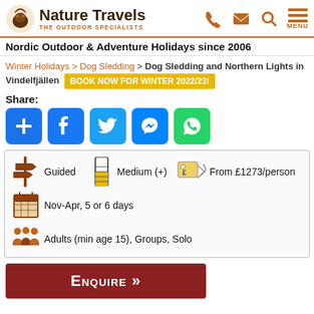Nature Travels – THE OUTDOOR SPECIALISTS
Nordic Outdoor & Adventure Holidays since 2006
Winter Holidays > Dog Sledding > Dog Sledding and Northern Lights in Vindelfjällen  BOOK NOW FOR WINTER 2022/23!
Share:
[Figure (illustration): Social share buttons: Add, Facebook, Twitter, Messenger, WhatsApp]
[Figure (infographic): Holiday info box: Guided | Medium (+) | From £1273/person | Nov-Apr, 5 or 6 days | Adults (min age 15), Groups, Solo]
ENQUIRE »